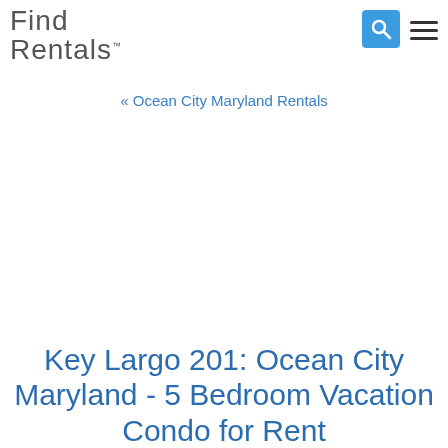Find Rentals™
« Ocean City Maryland Rentals
Key Largo 201: Ocean City Maryland - 5 Bedroom Vacation Condo for Rent